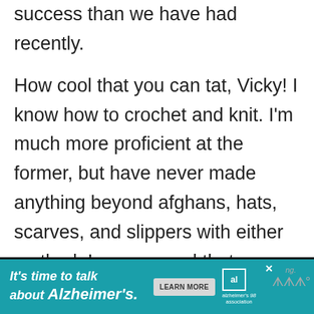success than we have had recently.
How cool that you can tat, Vicky! I know how to crochet and knit. I'm much more proficient at the former, but have never made anything beyond afghans, hats, scarves, and slippers with either method. I am amazed that you crocheted a waistcoat! I hope it will be back in fashion soon
[Figure (infographic): Advertisement banner for Alzheimer's Association with teal background. Text reads 'It's time to talk about Alzheimer's.' with a 'LEARN MORE' button and Alzheimer's Association logo.]